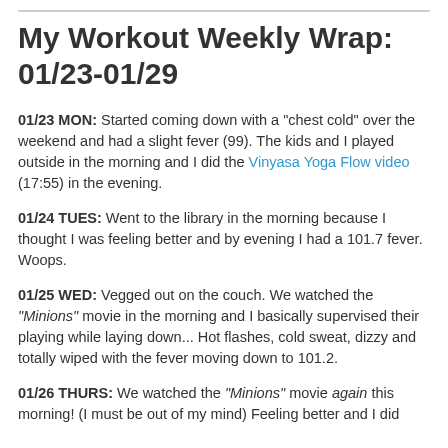My Workout Weekly Wrap: 01/23-01/29
01/23 MON: Started coming down with a "chest cold" over the weekend and had a slight fever (99). The kids and I played outside in the morning and I did the Vinyasa Yoga Flow video (17:55) in the evening.
01/24 TUES: Went to the library in the morning because I thought I was feeling better and by evening I had a 101.7 fever. Woops.
01/25 WED: Vegged out on the couch. We watched the "Minions" movie in the morning and I basically supervised their playing while laying down... Hot flashes, cold sweat, dizzy and totally wiped with the fever moving down to 101.2.
01/26 THURS: We watched the "Minions" movie again this morning! (I must be out of my mind) Feeling better and I did